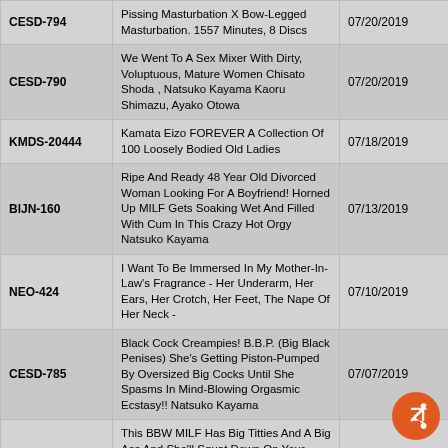| Code | Title | Date |
| --- | --- | --- |
| CESD-794 | Pissing Masturbation X Bow-Legged Masturbation. 1557 Minutes, 8 Discs | 07/20/2019 |
| CESD-790 | We Went To A Sex Mixer With Dirty, Voluptuous, Mature Women Chisato Shoda , Natsuko Kayama Kaoru Shimazu, Ayako Otowa | 07/20/2019 |
| KMDS-20444 | Kamata Eizo FOREVER A Collection Of 100 Loosely Bodied Old Ladies | 07/18/2019 |
| BIJN-160 | Ripe And Ready 48 Year Old Divorced Woman Looking For A Boyfriend! Horned Up MILF Gets Soaking Wet And Filled With Cum In This Crazy Hot Orgy Natsuko Kayama | 07/13/2019 |
| NEO-424 | I Want To Be Immersed In My Mother-In-Law's Fragrance - Her Underarm, Her Ears, Her Crotch, Her Feet, The Nape Of Her Neck - | 07/10/2019 |
| CESD-785 | Black Cock Creampies! B.B.P. (Big Black Penises) She's Getting Piston-Pumped By Oversized Big Cocks Until She Spasms In Mind-Blowing Orgasmic Ecstasy!! Natsuko Kayama | 07/07/2019 |
| CEAD-270 | This BBW MILF Has Big Titties And A Big Ass And She'll Squat Down On Your Cock In A Nasty Naughty Crab Position For Some Piston-Pounding Cowgirl Sex! You'll Want To Experience This Ultra Meaty Semen-Sucking Cowgirl Fuck At Least Once In Your... | 07/07/2019 |